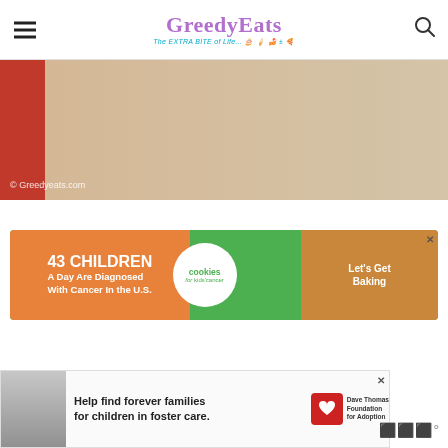GreedyEats – The EXTRA BITE of Life...
[Figure (photo): Partial photo showing red object on left and a beige/cream surface background. Watermark: © Greedyeats.com]
[Figure (infographic): Advertisement: 43 CHILDREN A Day Are Diagnosed With Cancer In the U.S. – cookies for kids cancer – Let's Get Baking]
[Figure (infographic): Advertisement: Help find forever families for children in foster care. Dave Thomas Foundation for Adoption]